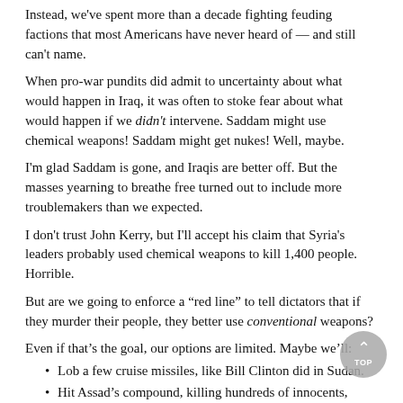Instead, we've spent more than a decade fighting feuding factions that most Americans have never heard of — and still can't name.
When pro-war pundits did admit to uncertainty about what would happen in Iraq, it was often to stoke fear about what would happen if we didn't intervene. Saddam might use chemical weapons! Saddam might get nukes! Well, maybe.
I'm glad Saddam is gone, and Iraqis are better off. But the masses yearning to breathe free turned out to include more troublemakers than we expected.
I don't trust John Kerry, but I'll accept his claim that Syria's leaders probably used chemical weapons to kill 1,400 people. Horrible.
But are we going to enforce a “red line” to tell dictators that if they murder their people, they better use conventional weapons?
Even if that's the goal, our options are limited. Maybe we'll:
Lob a few cruise missiles, like Bill Clinton did in Sudan.
Hit Assad's compound, killing hundreds of innocents, without killing Assad.
Kill Assad himself and then . . . what?